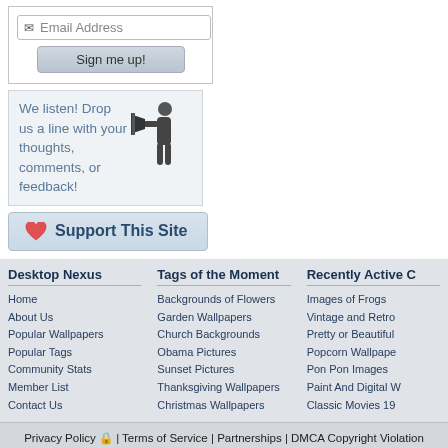[Figure (screenshot): Email address input field with envelope icon and 'Sign me up!' button]
[Figure (infographic): Feedback box with text 'We listen! Drop us a line with your thoughts, comments, or feedback!' and illustration of man with megaphone]
[Figure (infographic): Support This Site button with heart icon]
Desktop Nexus
Home
About Us
Popular Wallpapers
Popular Tags
Community Stats
Member List
Contact Us
Tags of the Moment
Backgrounds of Flowers
Garden Wallpapers
Church Backgrounds
Obama Pictures
Sunset Pictures
Thanksgiving Wallpapers
Christmas Wallpapers
Recently Active C
Images of Frogs
Vintage and Retro
Pretty or Beautiful
Popcorn Wallpape
Pon Pon Images
Paint And Digital W
Classic Movies 19
Privacy Policy 🔒 | Terms of Service | Partnerships | DMCA Copyright Violation
© Desktop Nexus - All rights reserved.
Page rendered with 6 queries (and 0 cached) in 0.077 seconds from server -23.